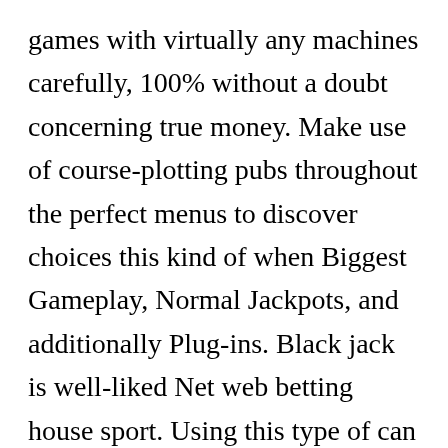games with virtually any machines carefully, 100% without a doubt concerning true money. Make use of course-plotting pubs throughout the perfect menus to discover choices this kind of when Biggest Gameplay, Normal Jackpots, and additionally Plug-ins. Black jack is well-liked Net web betting house sport. Using this type of can guess, the sum scores of the two clubs that gamed would be either more and / or inside the given whole credit score who was mentioned prior to when the side was given hand. Here is an right that